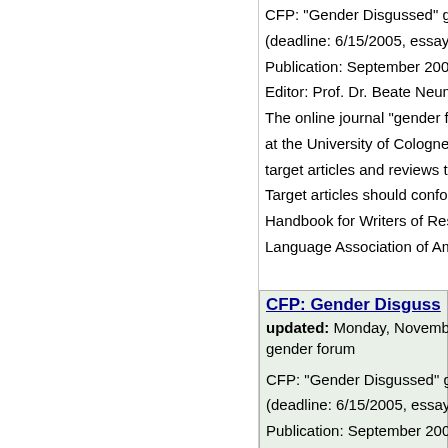CFP: "Gender Disgussed" gen (deadline: 6/15/2005, essays Publication: September 2005 Editor: Prof. Dr. Beate Neume The online journal "gender fo at the University of Cologne, target articles and reviews to Target articles should conform Handbook for Writers of Rese Language Association of Ame
CFP: Gender Disguss
updated: Monday, November
gender forum
CFP: "Gender Disgussed" gen (deadline: 6/15/2005, essays Publication: September 2005